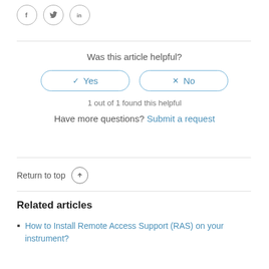[Figure (other): Social sharing icons: Facebook (f), Twitter (bird), LinkedIn (in)]
Was this article helpful?
✓ Yes  ×  No (buttons)
1 out of 1 found this helpful
Have more questions? Submit a request
Return to top ↑
Related articles
How to Install Remote Access Support (RAS) on your instrument?